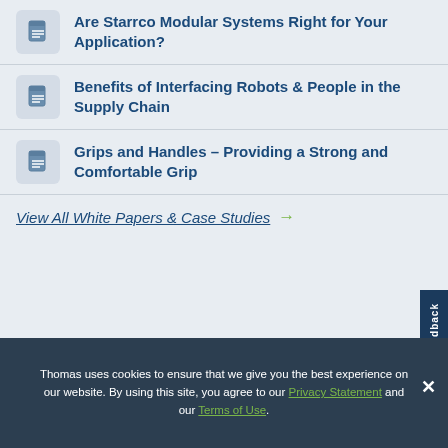Are Starrco Modular Systems Right for Your Application?
Benefits of Interfacing Robots & People in the Supply Chain
Grips and Handles – Providing a Strong and Comfortable Grip
View All White Papers & Case Studies →
[Figure (illustration): Book cover illustration for 'Guide to Switches for Your Application']
Sponsored Electrical Equipment & Systems
Guide to Switches for Your Application
Feedback
Thomas uses cookies to ensure that we give you the best experience on our website. By using this site, you agree to our Privacy Statement and our Terms of Use.